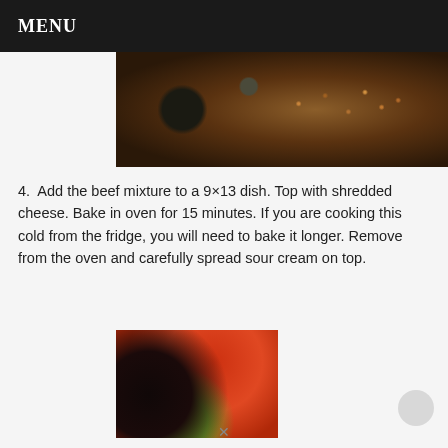MENU
[Figure (photo): Close-up photo of seasoned ground beef mixture being cooked in a dark pan, showing browned meat with spices and green onions]
4. Add the beef mixture to a 9×13 dish. Top with shredded cheese. Bake in oven for 15 minutes. If you are cooking this cold from the fridge, you will need to bake it longer. Remove from the oven and carefully spread sour cream on top.
[Figure (photo): Photo of toppings including sliced red cherry tomatoes, sliced black olives, and chopped green lettuce on a cutting board]